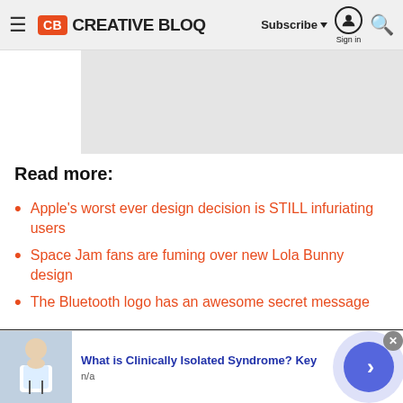Creative Bloq — Subscribe | Sign in | Search
[Figure (screenshot): Gray advertisement placeholder banner]
Read more:
Apple's worst ever design decision is STILL infuriating users
Space Jam fans are fuming over new Lola Bunny design
The Bluetooth logo has an awesome secret message
[Figure (infographic): Bottom advertisement: What is Clinically Isolated Syndrome? with doctor image and navigation arrow button. Text: n/a]